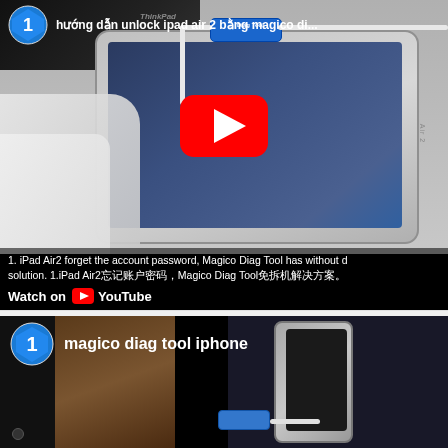[Figure (screenshot): YouTube video thumbnail showing iPad Air 2 unlock tutorial using Magico Diag Tool. Title: 'hướng dẫn unlock ipad air 2 bằng magico di...' Caption: '1. iPad Air2 forget the account password, Magico Diag Tool has without d solution. 1.iPad Air2忘记账户密码，Magico Diag Tool免拆机解决方案。' with Watch on YouTube button.]
[Figure (screenshot): YouTube video thumbnail for 'magico diag tool iphone' showing a smartphone connected to a Magico Diag Tool dongle with keyboard in background.]